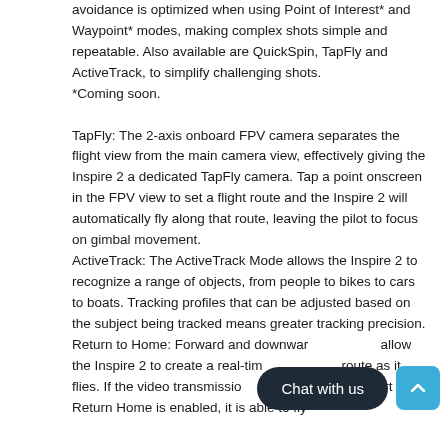avoidance is optimized when using Point of Interest* and Waypoint* modes, making complex shots simple and repeatable. Also available are QuickSpin, TapFly and ActiveTrack, to simplify challenging shots.
*Coming soon.

TapFly: The 2-axis onboard FPV camera separates the flight view from the main camera view, effectively giving the Inspire 2 a dedicated TapFly camera. Tap a point onscreen in the FPV view to set a flight route and the Inspire 2 will automatically fly along that route, leaving the pilot to focus on gimbal movement.
ActiveTrack: The ActiveTrack Mode allows the Inspire 2 to recognize a range of objects, from people to bikes to cars to boats. Tracking profiles that can be adjusted based on the subject being tracked means greater tracking precision.
Return to Home: Forward and downward … allow the Inspire 2 to create a real-time … route as it flies. If the video transmission … lost and Smart Return Home is enabled, it is able to fly